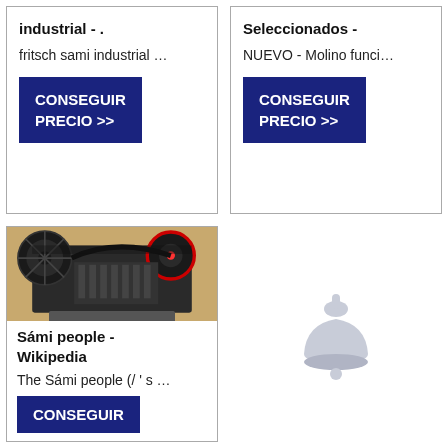industrial - .
fritsch sami industrial …
CONSEGUIR PRECIO >>
Seleccionados -
NUEVO - Molino funci…
CONSEGUIR PRECIO >>
[Figure (photo): Industrial jaw crusher machine with pulleys and belt drives on a wooden pallet]
Sámi people - Wikipedia
The Sámi people (/ ' s …
CONSEGUIR
[Figure (illustration): Light grey bell/notification icon with a small dot below it]